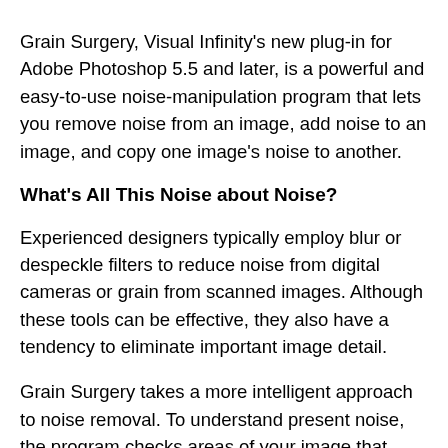Grain Surgery, Visual Infinity's new plug-in for Adobe Photoshop 5.5 and later, is a powerful and easy-to-use noise-manipulation program that lets you remove noise from an image, add noise to an image, and copy one image's noise to another.
What's All This Noise about Noise?
Experienced designers typically employ blur or despeckle filters to reduce noise from digital cameras or grain from scanned images. Although these tools can be effective, they also have a tendency to eliminate important image detail.
Grain Surgery takes a more intelligent approach to noise removal. To understand present noise, the program checks areas of your image that contain simple, flat colors. It then removes recognized noise